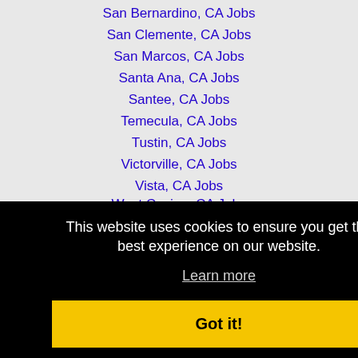San Bernardino, CA Jobs
San Clemente, CA Jobs
San Marcos, CA Jobs
Santa Ana, CA Jobs
Santee, CA Jobs
Temecula, CA Jobs
Tustin, CA Jobs
Victorville, CA Jobs
Vista, CA Jobs
West Covina, CA Jobs
This website uses cookies to ensure you get the best experience on our website.
Learn more
Got it!